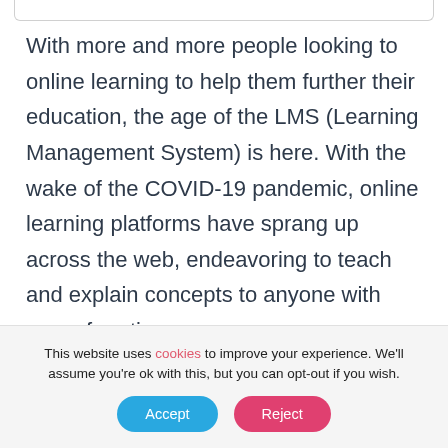With more and more people looking to online learning to help them further their education, the age of the LMS (Learning Management System) is here. With the wake of the COVID-19 pandemic, online learning platforms have sprang up across the web, endeavoring to teach and explain concepts to anyone with some free time
This website uses cookies to improve your experience. We'll assume you're ok with this, but you can opt-out if you wish.